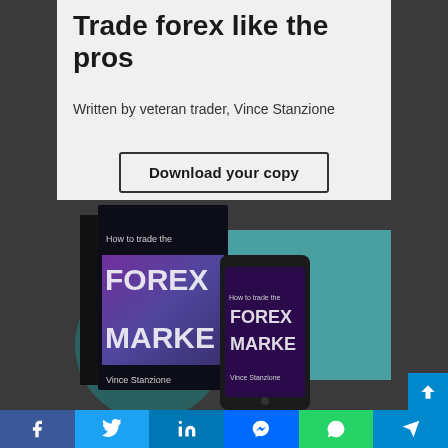Trade forex like the pros
Written by veteran trader, Vince Stanzione
Download your copy
[Figure (illustration): Book cover and smartphone mockup showing 'How to trade the FOREX MARKET' by Vince Stanzione, with teal rectangle and dark circle decorative backgrounds on a dark grey backdrop]
Facebook | Twitter | LinkedIn | Messenger | WhatsApp | Telegram